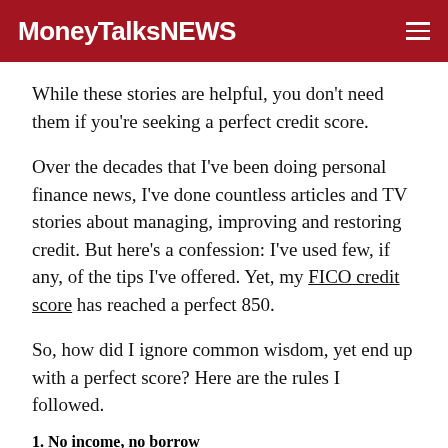MoneyTalksNEWS
While these stories are helpful, you don’t need them if you’re seeking a perfect credit score.
Over the decades that I’ve been doing personal finance news, I’ve done countless articles and TV stories about managing, improving and restoring credit. But here’s a confession: I’ve used few, if any, of the tips I’ve offered. Yet, my FICO credit score has reached a perfect 850.
So, how did I ignore common wisdom, yet end up with a perfect score? Here are the rules I followed.
1. No income, no borrow